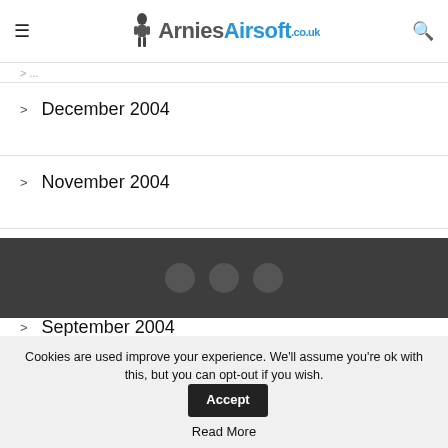ArniesAirsoft.co.uk
December 2004
November 2004
October 2004
September 2004
Cookies are used improve your experience. We'll assume you're ok with this, but you can opt-out if you wish. Accept
Read More